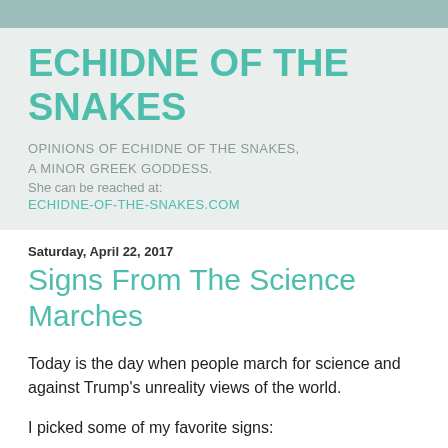ECHIDNE OF THE SNAKES
OPINIONS OF ECHIDNE OF THE SNAKES, A MINOR GREEK GODDESS.
She can be reached at:
ECHIDNE-OF-THE-SNAKES.COM
Saturday, April 22, 2017
Signs From The Science Marches
Today is the day when people march for science and against Trump's unreality views of the world.
I picked some of my favorite signs: